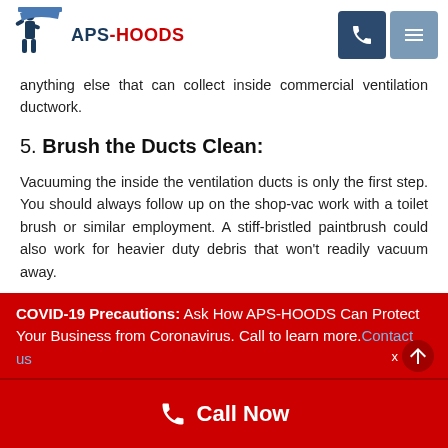APS-HOODS
anything else that can collect inside commercial ventilation ductwork.
5. Brush the Ducts Clean:
Vacuuming the inside the ventilation ducts is only the first step. You should always follow up on the shop-vac work with a toilet brush or similar employment. A stiff-bristled paintbrush could also work for heavier duty debris that won't readily vacuum away.
COVID-19 Precautions: Ask How APS-HOODS Can Protect Your Business from Coronavirus. Call to learn more. Contact us
Call Now